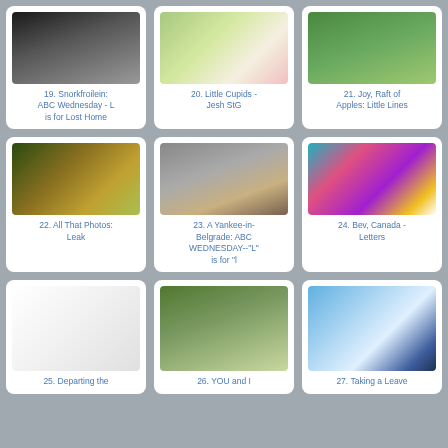[Figure (photo): Photo thumbnail - dark misty/smoky image]
19. Snorkfroilein: ABC Wednesday - L is for Lost Home
[Figure (photo): Photo thumbnail - flowers, white/pink roses]
20. Little Cupids - Jesh StG
[Figure (photo): Photo thumbnail - people outdoors on grass]
21. Joy, Raft of Apples: Little Lines
[Figure (photo): Photo thumbnail - colorful mural/street art of face]
22. All That Photos: Leak
[Figure (photo): Photo thumbnail - man in suit standing outdoors]
23. A Yankee-in-Belgrade: ABC WEDNESDAY--"L" is for "l
[Figure (photo): Photo thumbnail - colorful letters/text art]
24. Bev, Canada - Letters
[Figure (photo): Photo thumbnail - logos collage (WWF, Disney, Starbucks, Harley-Davidson, K2, Toyota, Coca-Cola, NBA, etc.)]
25. Departing the
[Figure (photo): Photo thumbnail - tree-lined road/path]
26. YOU and I
[Figure (photo): Photo thumbnail - mountain landscape with trees and blue sky]
27. Taking a Leave